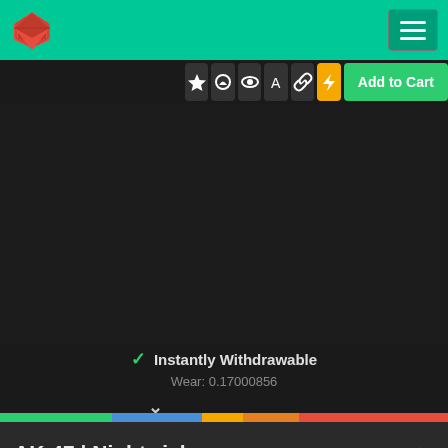Header with logo and hamburger menu
[Figure (screenshot): Toolbar with icon buttons (star, Steam, eye, accessibility, link, lightning/quick) and Add to Cart button]
[Figure (screenshot): Dark product image area (black background, empty content region)]
✓ Instantly Withdrawable
Wear: 0.17000856
[Figure (infographic): Wear condition color bar: green, blue, yellow, orange, red segments with marker indicator]
AK-47 | Nightwish
Field-Tested / Covert Rifle / 9